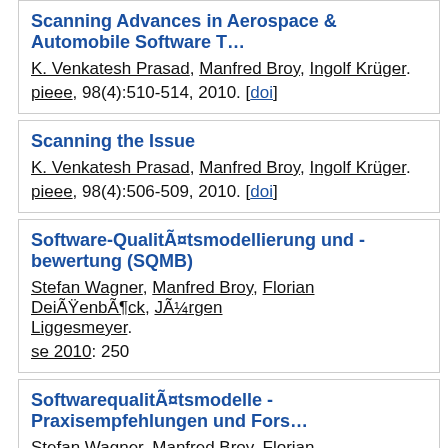Scanning Advances in Aerospace & Automobile Software T...
K. Venkatesh Prasad, Manfred Broy, Ingolf Krüger.
pieee, 98(4):510-514, 2010. [doi]
Scanning the Issue
K. Venkatesh Prasad, Manfred Broy, Ingolf Krüger.
pieee, 98(4):506-509, 2010. [doi]
Software-Qualitätsmodellierung und -bewertung (SQMB)
Stefan Wagner, Manfred Broy, Florian Deißenbäck, Jürgen Liggesmeyer.
se 2010: 250
Softwarequalitätsmodelle - Praxisempfehlungen und Fors...
Stefan Wagner, Manfred Broy, Florian Deißenbäck, Michael ... Liggesmeyer, Jürgen Münch, Jonathan Streit.
insk, 33(1):37-44, 2010. [doi]
2009